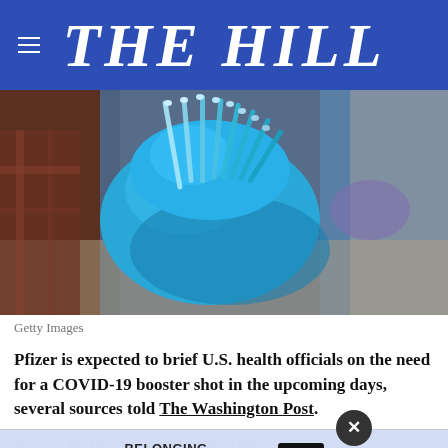THE HILL
[Figure (photo): Blue-gloved hand holding multiple medical/laboratory pipette tubes or syringes against a blurred background]
Getty Images
Pfizer is expected to brief U.S. health officials on the need for a COVID-19 booster shot in the upcoming days, several sources told The Washington Post.
News of the reported briefing comes after gover[nment]... [one] manu[facturer]... was